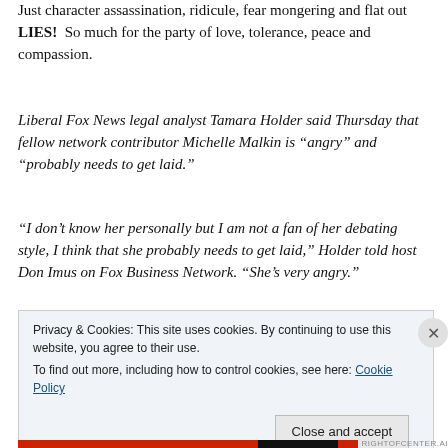Just character assassination, ridicule, fear mongering and flat out LIES! So much for the party of love, tolerance, peace and compassion.
Liberal Fox News legal analyst Tamara Holder said Thursday that fellow network contributor Michelle Malkin is “angry” and “probably needs to get laid.”
“I don’t know her personally but I am not a fan of her debating style, I think that she probably needs to get laid,” Holder told host Don Imus on Fox Business Network. “She’s very angry.”
Privacy & Cookies: This site uses cookies. By continuing to use this website, you agree to their use. To find out more, including how to control cookies, see here: Cookie Policy
Close and accept